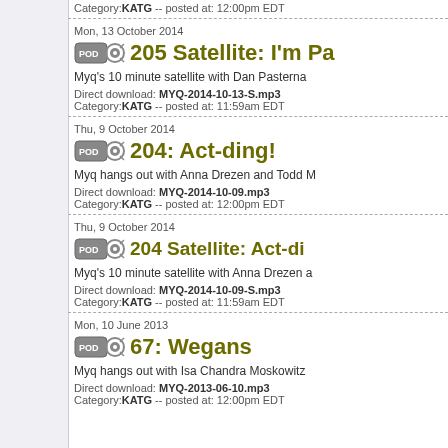Category:KATG -- posted at: 12:00pm EDT
Mon, 13 October 2014
205 Satellite: I'm Pa...
Myq's 10 minute satellite with Dan Pasterna...
Direct download: MYQ-2014-10-13-S.mp3
Category:KATG -- posted at: 11:59am EDT
Thu, 9 October 2014
204: Act-ding!
Myq hangs out with Anna Drezen and Todd M...
Direct download: MYQ-2014-10-09.mp3
Category:KATG -- posted at: 12:00pm EDT
Thu, 9 October 2014
204 Satellite: Act-di...
Myq's 10 minute satellite with Anna Drezen a...
Direct download: MYQ-2014-10-09-S.mp3
Category:KATG -- posted at: 11:59am EDT
Mon, 10 June 2013
67: Wegans
Myq hangs out with Isa Chandra Moskowitz...
Direct download: MYQ-2013-06-10.mp3
Category:KATG -- posted at: 12:00pm EDT